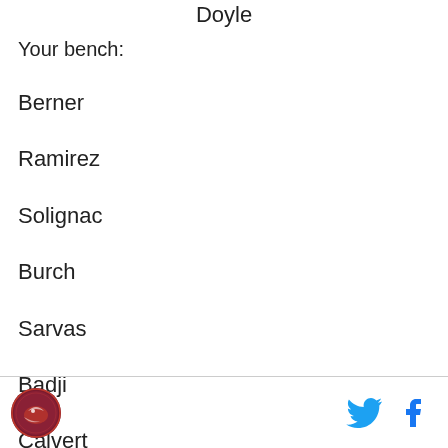Doyle
Your bench:
Berner
Ramirez
Solignac
Burch
Sarvas
Badji
Calvert
Logo and social media icons